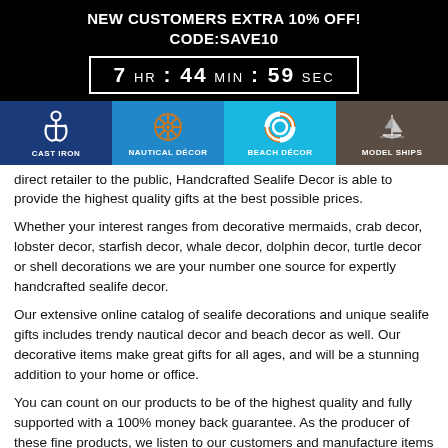NEW CUSTOMERS EXTRA 10% OFF!
CODE:SAVE10
[Figure (infographic): Countdown timer showing 7 HR : 44 MIN : 59 SEC in a white-bordered box on black background]
[Figure (infographic): Navigation bar with four categories: CAST IRON (dark blue, anchor icon), NAUTICAL DÉCOR (medium blue, ship wheel icon), BEACH DÉCOR (cyan, life preserver icon), MODEL SHIPS (brown, sailboat icon)]
direct retailer to the public, Handcrafted Sealife Decor is able to provide the highest quality gifts at the best possible prices.
Whether your interest ranges from decorative mermaids, crab decor, lobster decor, starfish decor, whale decor, dolphin decor, turtle decor or shell decorations we are your number one source for expertly handcrafted sealife decor.
Our extensive online catalog of sealife decorations and unique sealife gifts includes trendy nautical decor and beach decor as well. Our decorative items make great gifts for all ages, and will be a stunning addition to your home or office.
You can count on our products to be of the highest quality and fully supported with a 100% money back guarantee. As the producer of these fine products, we listen to our customers and manufacture items that we truly believe in. To see our products in person, our Los